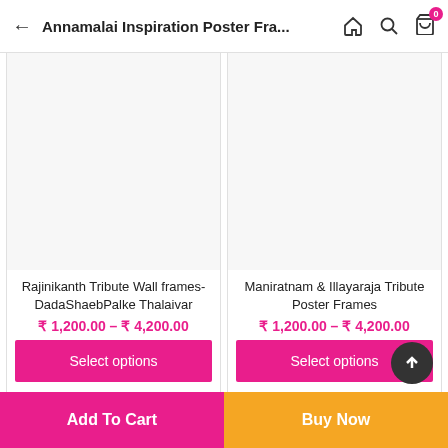Annamalai Inspiration Poster Fra...
[Figure (photo): Product image placeholder for Rajinikanth Tribute Wall frames-DadaShaebPalke Thalaivar]
Rajinikanth Tribute Wall frames-DadaShaebPalke Thalaivar
₹ 1,200.00 – ₹ 4,200.00
Select options
[Figure (photo): Product image placeholder for Maniratnam & Illayaraja Tribute Poster Frames]
Maniratnam & Illayaraja Tribute Poster Frames
₹ 1,200.00 – ₹ 4,200.00
Select options
Add To Cart
Buy Now